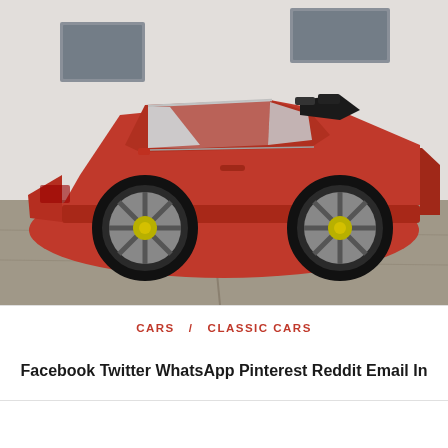[Figure (photo): Side profile photo of a red classic Ferrari sports car (convertible/targa style) parked on a concrete surface in front of a light grey/white wall with two windows visible. The car has silver alloy wheels, a low sleek body, and the top is partially open.]
CARS  /  CLASSIC CARS
Facebook Twitter WhatsApp Pinterest Reddit Email In